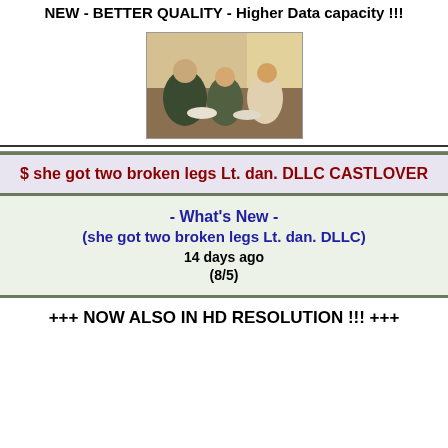NEW - BETTER QUALITY - Higher Data capacity !!!
[Figure (photo): Group of people sitting around a table, appears to be a meal or gathering scene]
$ she got two broken legs Lt. dan. DLLC CASTLOVER
- What's New -
(she got two broken legs Lt. dan. DLLC)
14 days ago
(8/5)
+++ NOW ALSO IN HD RESOLUTION !!! +++